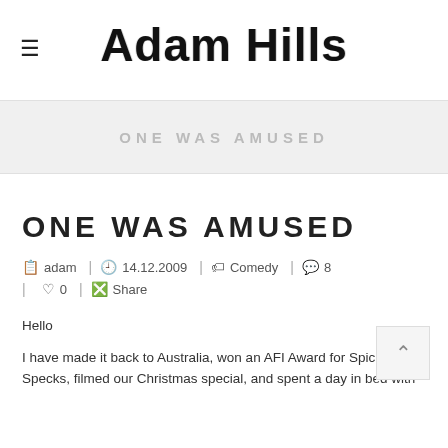≡  Adam Hills
ONE WAS AMUSED
ONE WAS AMUSED
adam  |  14.12.2009  |  Comedy  |  8  |  0  |  Share
Hello
I have made it back to Australia, won an AFI Award for Spicks and Specks, filmed our Christmas special, and spent a day in bed with